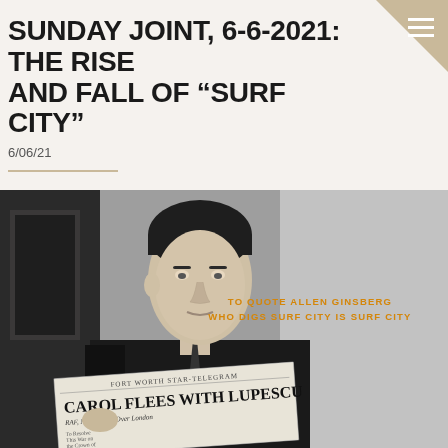SUNDAY JOINT, 6-6-2021: THE RISE AND FALL OF “SURF CITY”
6/06/21
[Figure (photo): Black and white photograph of a man in a dark suit holding a copy of the Fort Worth Star-Telegram newspaper with headline 'CAROL FLEES WITH LUPESCU'. An orange text overlay reads 'TO QUOTE ALLEN GINSBERG / WHO DIGS SURF CITY IS SURF CITY'.]